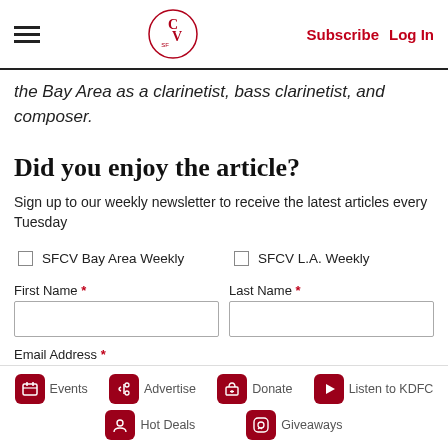Subscribe  Log In
the Bay Area as a clarinetist, bass clarinetist, and composer.
Did you enjoy the article?
Sign up to our weekly newsletter to receive the latest articles every Tuesday
SFCV Bay Area Weekly   SFCV L.A. Weekly
First Name * Last Name *
Email Address *
Events  Advertise  Donate  Listen to KDFC  Hot Deals  Giveaways